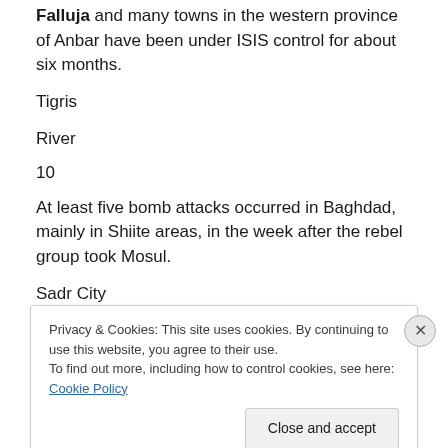Falluja and many towns in the western province of Anbar have been under ISIS control for about six months.
Tigris
River
10
At least five bomb attacks occurred in Baghdad, mainly in Shiite areas, in the week after the rebel group took Mosul.
Sadr City
Privacy & Cookies: This site uses cookies. By continuing to use this website, you agree to their use.
To find out more, including how to control cookies, see here: Cookie Policy
Close and accept